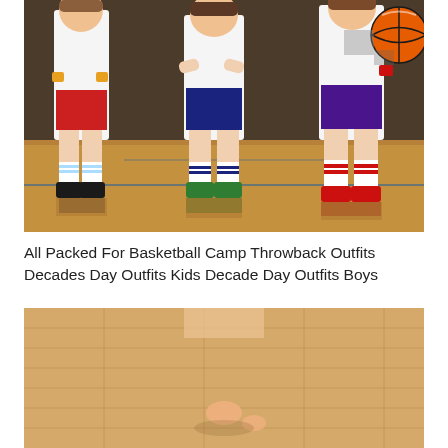[Figure (photo): Three children dressed in retro basketball outfits standing on a gym court floor. Left child wears red shorts, white top, yellow wristbands, striped socks and black high-top sneakers. Middle child wears navy shorts, white top, navy striped socks and green high-top sneakers. Right child wears purple shorts, white top, red wristbands, striped socks and red high-top sneakers and holds a basketball.]
All Packed For Basketball Camp Throwback Outfits Decades Day Outfits Kids Decade Day Outfits Boys
[Figure (photo): A child on a light wood floor, partial view showing torso and hands near the floor.]